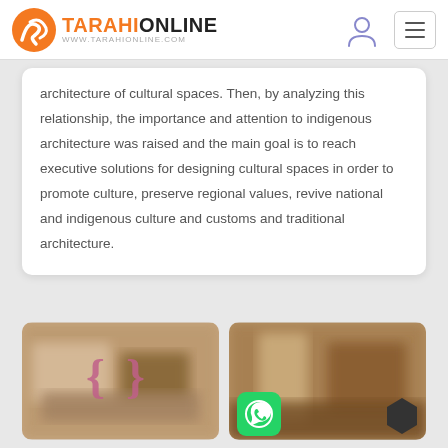TARAHIONLINE — www.tarahionline.com
architecture of cultural spaces. Then, by analyzing this relationship, the importance and attention to indigenous architecture was raised and the main goal is to reach executive solutions for designing cultural spaces in order to promote culture, preserve regional values, revive national and indigenous culture and customs and traditional architecture.
[Figure (photo): Blurred interior architectural photo with pink curly braces overlay]
[Figure (photo): Blurred interior architectural photo with WhatsApp button and dark hexagon overlay]